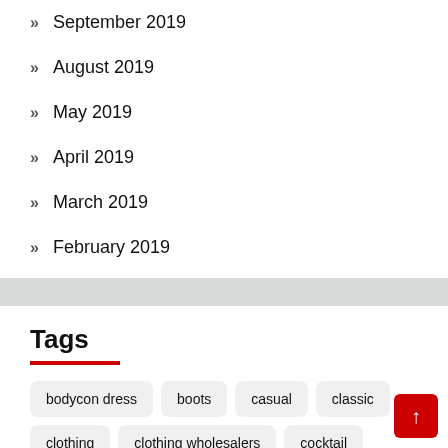September 2019
August 2019
May 2019
April 2019
March 2019
February 2019
Tags
bodycon dress
boots
casual
classic
clothing
clothing wholesalers
cocktail